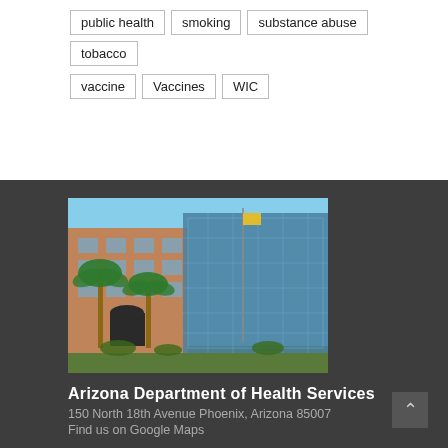public health
smoking
substance abuse
tobacco
vaccine
Vaccines
WIC
[Figure (photo): Exterior photo of the Arizona Department of Health Services building, a multi-story brick and glass office building with palm trees in front.]
Arizona Department of Health Services
150 North 18th Avenue Phoenix, Arizona 85007
Find us on Google Maps